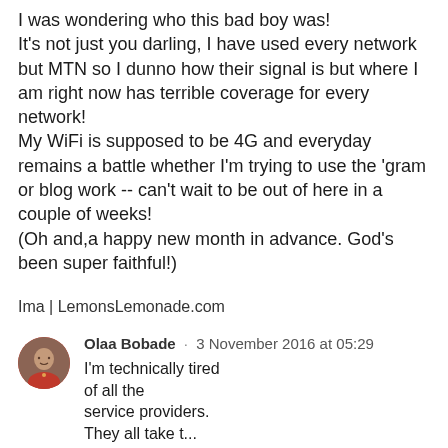I was wondering who this bad boy was! It's not just you darling, I have used every network but MTN so I dunno how their signal is but where I am right now has terrible coverage for every network! My WiFi is supposed to be 4G and everyday remains a battle whether I'm trying to use the 'gram or blog work -- can't wait to be out of here in a couple of weeks! (Oh and,a happy new month in advance. God's been super faithful!)
Ima | LemonsLemonade.com
Olaa Bobade · 3 November 2016 at 05:29
I'm technically tired of all the service providers.